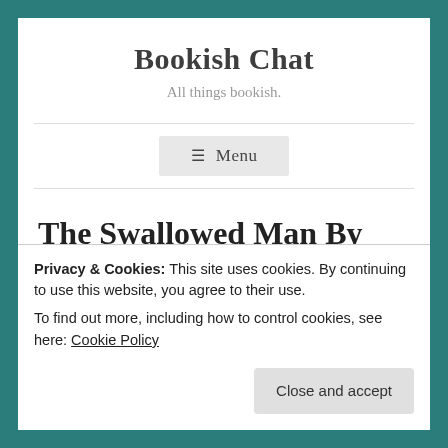Bookish Chat
All things bookish.
≡ Menu
The Swallowed Man By Edward Carey – A Review
Privacy & Cookies: This site uses cookies. By continuing to use this website, you agree to their use.
To find out more, including how to control cookies, see here: Cookie Policy
Close and accept
Publication Date: 5th November 2020